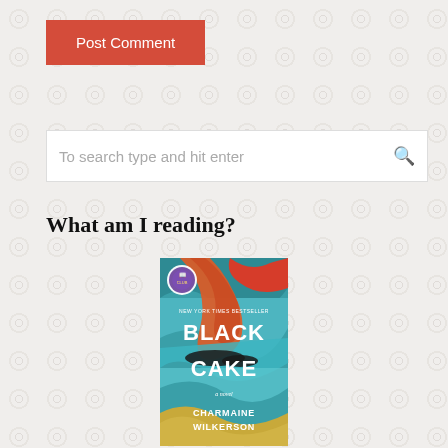Post Comment
To search type and hit enter
What am I reading?
[Figure (illustration): Book cover of 'Black Cake' by Charmaine Wilkerson — a novel with colorful abstract wave patterns in teal, orange, red, and gold. The title BLACK CAKE is displayed in large white letters, with a book club badge in the top left corner and 'NEW YORK TIMES BESTSELLER' text above the title.]